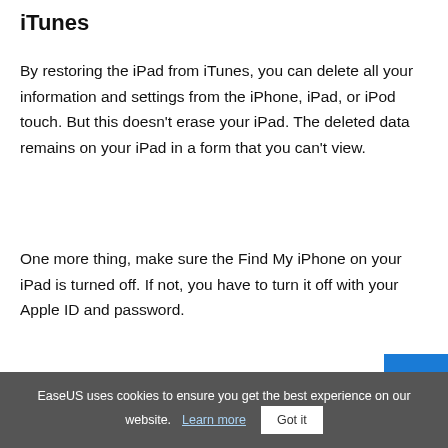iTunes
By restoring the iPad from iTunes, you can delete all your information and settings from the iPhone, iPad, or iPod touch. But this doesn't erase your iPad. The deleted data remains on your iPad in a form that you can't view.
One more thing, make sure the Find My iPhone on your iPad is turned off. If not, you have to turn it off with your Apple ID and password.
Step 1. Connect your iPad to your computer.
Step 2. Launch the latest iTunes on your computer.
EaseUS uses cookies to ensure you get the best experience on our website.  Learn more  Got it